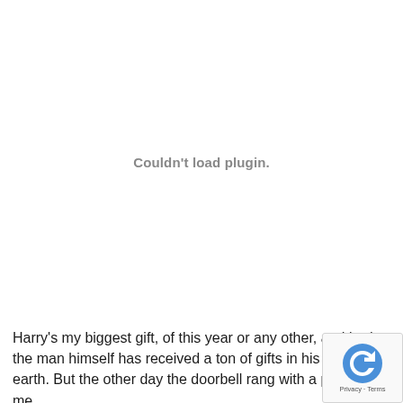Couldn't load plugin.
Harry's my biggest gift, of this year or any other, and lord the man himself has received a ton of gifts in his short tim earth. But the other day the doorbell rang with a present for me
[Figure (other): reCAPTCHA badge in bottom-right corner showing Google reCAPTCHA logo with Privacy and Terms text]